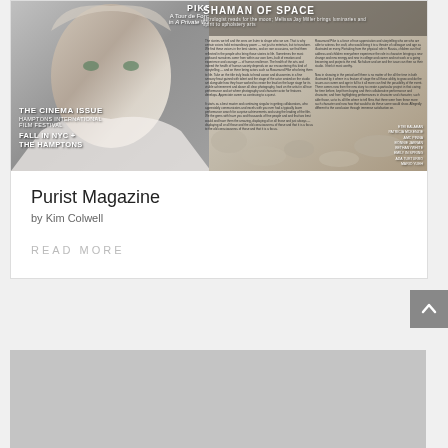[Figure (screenshot): Purist Magazine cover image showing a woman (cinema issue) on the left half and a 'Shaman of Space' article spread on the right half]
Purist Magazine
by Kim Colwell
READ MORE
[Figure (photo): Second card below showing a grey placeholder image]